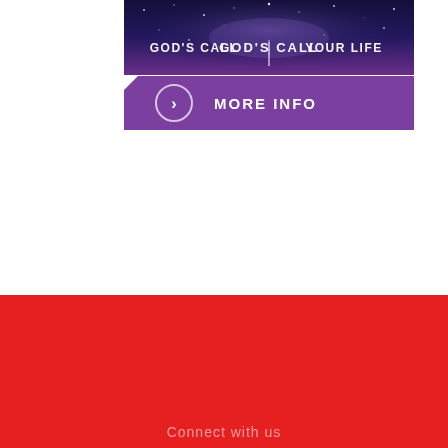[Figure (illustration): Dark galaxy/space background banner with text 'GOD'S CALL | YOUR LIFE' in white bold letters, and a purple 'MORE INFO' button with a circular arrow icon below]
Connect with us